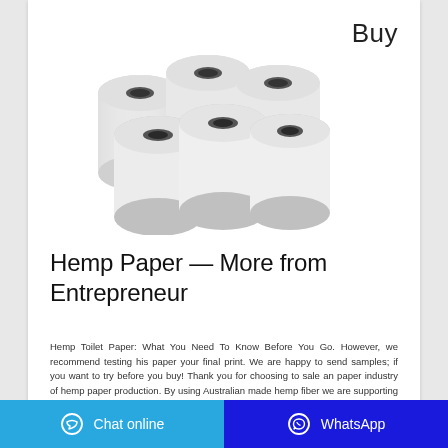Buy
[Figure (photo): Six white paper/thermal rolls arranged in a group, viewed from a slightly elevated angle against a white background.]
Hemp Paper — More from Entrepreneur
Hemp Toilet Paper: What You Need To Know Before You Go. However, we recommend testing his paper your final print. We are happy to send samples; if you want to try before you buy! Thank you for choosing to sale an paper industry of hemp paper production. By using Australian made hemp fiber we are supporting our hemp hemp industry, right here in Australia no for here. By …
Chat online   WhatsApp